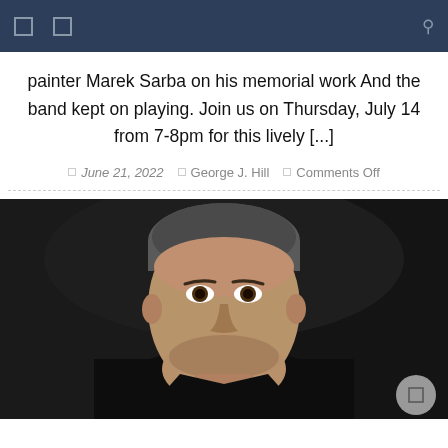[navigation bar with icons]
painter Marek Sarba on his memorial work And the band kept on playing. Join us on Thursday, July 14 from 7-8pm for this lively [...]
June 21, 2022  George J. Hill  Comments Off
[Figure (photo): Close-up photo of a man with short grey hair wearing a black jacket, looking directly at the camera against a dark background]